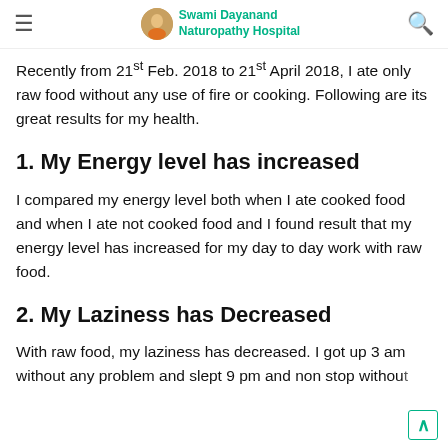Swami Dayanand Naturopathy Hospital
Recently from 21st Feb. 2018 to 21st April 2018, I ate only raw food without any use of fire or cooking. Following are its great results for my health.
1. My Energy level has increased
I compared my energy level both when I ate cooked food and when I ate not cooked food and I found result that my energy level has increased for my day to day work with raw food.
2. My Laziness has Decreased
With raw food, my laziness has decreased. I got up 3 am without any problem and slept 9 pm and non stop without